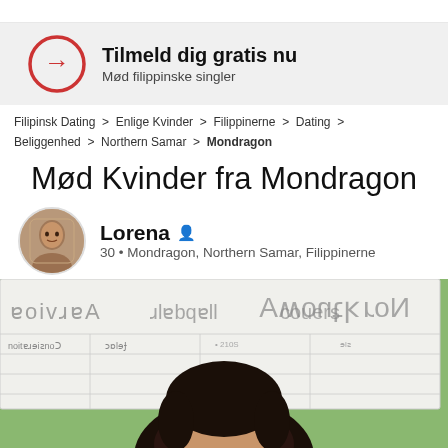[Figure (infographic): Call-to-action banner with red circular arrow icon, bold text 'Tilmeld dig gratis nu' and subtitle 'Mød filippinske singler']
Filipinsk Dating > Enlige Kvinder > Filippinerne > Dating > Beliggenhed > Northern Samar > Mondragon
Mød Kvinder fra Mondragon
Lorena 👤
30 • Mondragon, Northern Samar, Filippinerne
[Figure (photo): Photo of a young Filipino woman (Lorena, 30) standing in front of a whiteboard with text, wearing a pink shirt, her face partially visible at the bottom of the frame.]